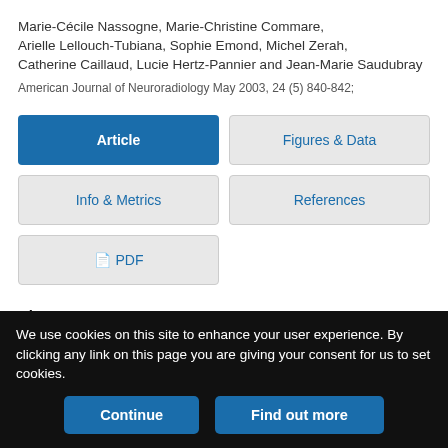Marie-Cécile Nassogne, Marie-Christine Commare, Arielle Lellouch-Tubiana, Sophie Emond, Michel Zerah, Catherine Caillaud, Lucie Hertz-Pannier and Jean-Marie Saudubray
American Journal of Neuroradiology May 2003, 24 (5) 840-842;
Article
Figures & Data
Info & Metrics
References
PDF
Abstract
We use cookies on this site to enhance your user experience. By clicking any link on this page you are giving your consent for us to set cookies.
Continue
Find out more